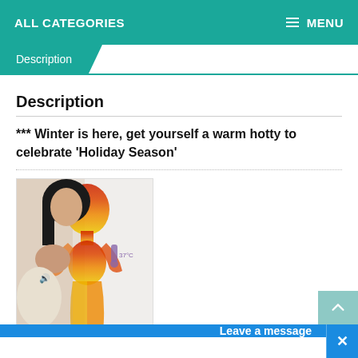ALL CATEGORIES   MENU
Description
Description
*** Winter is here, get yourself a warm hotty to celebrate 'Holiday Season'
[Figure (photo): Product photo showing a doll or mannequin figure with a heat map overlay indicating warmth (red/orange gradient) and icons for sound and temperature (37°C)]
This doll comes in 2 kinds: Silicon
Leave a message  ×